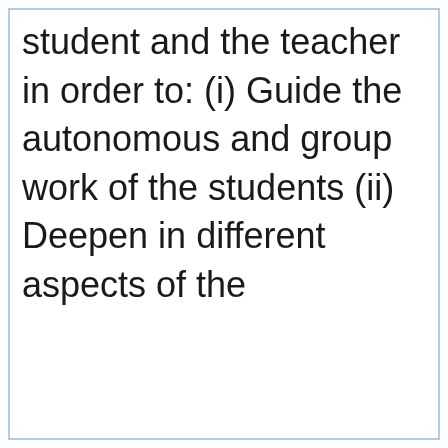student and the teacher in order to: (i) Guide the autonomous and group work of the students (ii) Deepen in different aspects of the